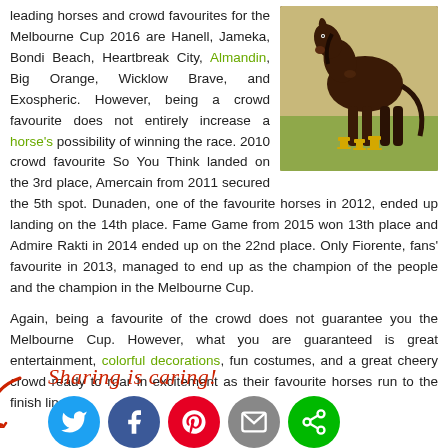leading horses and crowd favourites for the Melbourne Cup 2016 are Hanell, Jameka, Bondi Beach, Heartbreak City, Almandin, Big Orange, Wicklow Brave, and Exospheric. However, being a crowd favourite does not entirely increase a horse's possibility of winning the race. 2010 crowd favourite So You Think landed on the 3rd place, Amercain from 2011 secured the 5th spot. Dunaden, one of the favourite horses in 2012, ended up landing on the 14th place. Fame Game from 2015 won 13th place and Admire Rakti in 2014 ended up on the 22nd place. Only Fiorente, fans' favourite in 2013, managed to end up as the champion of the people and the champion in the Melbourne Cup.
[Figure (photo): A brown horse standing in a field with multiple trophy cups arranged on the ground in front of its hooves.]
Again, being a favourite of the crowd does not guarantee you the Melbourne Cup. However, what you are guaranteed is great entertainment, colorful decorations, fun costumes, and a great cheery crowd ready to roar in excitement as their favourite horses run to the finish line.
Sharing is caring!